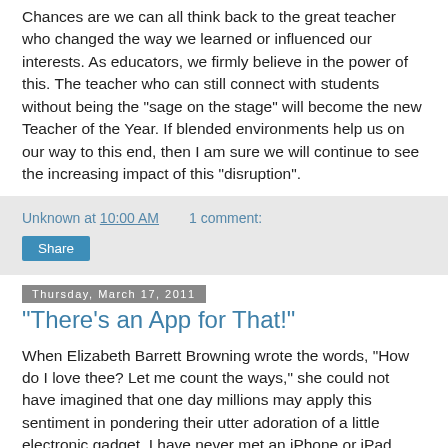Chances are we can all think back to the great teacher who changed the way we learned or influenced our interests. As educators, we firmly believe in the power of this. The teacher who can still connect with students without being the "sage on the stage" will become the new Teacher of the Year. If blended environments help us on our way to this end, then I am sure we will continue to see the increasing impact of this "disruption".
Unknown at 10:00 AM    1 comment:
Share
Thursday, March 17, 2011
"There's an App for That!"
When Elizabeth Barrett Browning wrote the words, "How do I love thee? Let me count the ways," she could not have imagined that one day millions may apply this sentiment in pondering their utter adoration of a little electronic gadget. I have never met an iPhone or iPad owner who had anything